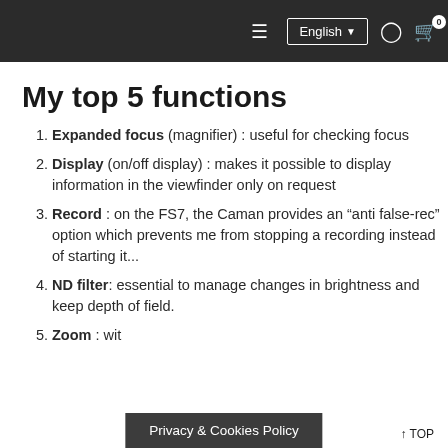≡  English ▼  [user icon]  [cart icon] 0
My top 5 functions
Expanded focus (magnifier) : useful for checking focus
Display (on/off display) : makes it possible to display information in the viewfinder only on request
Record : on the FS7, the Caman provides an “anti false-rec” option which prevents me from stopping a recording instead of starting it...
ND filter: essential to manage changes in brightness and keep depth of field.
Zoom : with ... activate ...
Privacy & Cookies Policy
↑ TOP